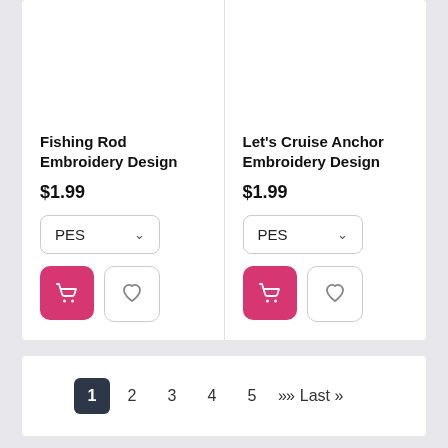Fishing Rod Embroidery Design
$1.99
Let's Cruise Anchor Embroidery Design
$1.99
1  2  3  4  5  ›› Last »